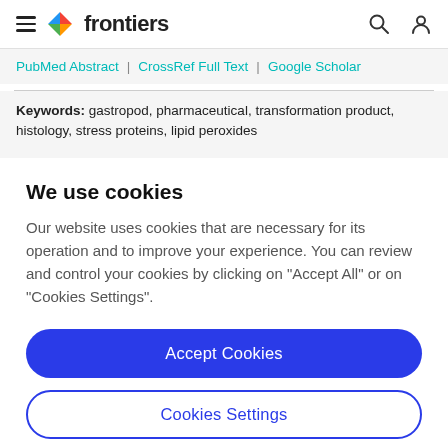frontiers
PubMed Abstract | CrossRef Full Text | Google Scholar
Keywords: gastropod, pharmaceutical, transformation product, histology, stress proteins, lipid peroxides
We use cookies
Our website uses cookies that are necessary for its operation and to improve your experience. You can review and control your cookies by clicking on "Accept All" or on "Cookies Settings".
Accept Cookies
Cookies Settings